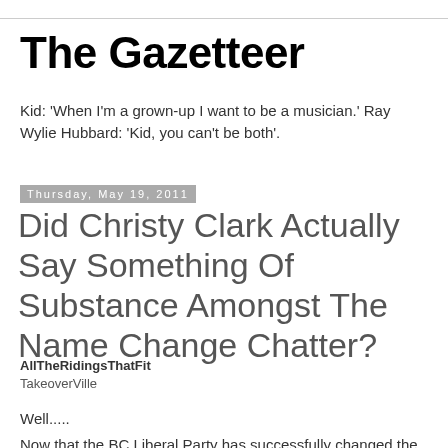The Gazetteer
Kid: 'When I'm a grown-up I want to be a musician.' Ray Wylie Hubbard: 'Kid, you can't be both'.
Thursday, May 19, 2011
Did Christy Clark Actually Say Something Of Substance Amongst The Name Change Chatter?
AllTheRidingsThatFit
TakeoverVille
Well.....
Now that the BC Liberal Party has successfully changed the channel with all that name change codswallop, it would